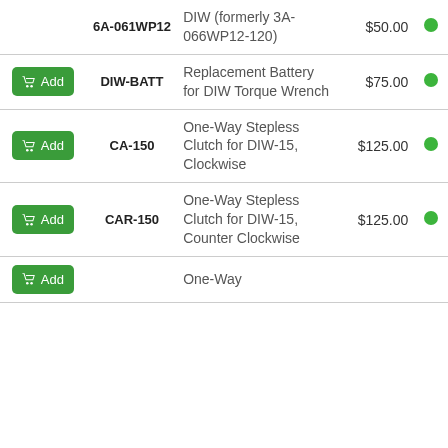| Add | SKU | Description | Price | Status |
| --- | --- | --- | --- | --- |
|  | 6A-061WP12 | DIW (formerly 3A-066WP12-120) | $50.00 | in-stock |
| Add | DIW-BATT | Replacement Battery for DIW Torque Wrench | $75.00 | in-stock |
| Add | CA-150 | One-Way Stepless Clutch for DIW-15, Clockwise | $125.00 | in-stock |
| Add | CAR-150 | One-Way Stepless Clutch for DIW-15, Counter Clockwise | $125.00 | in-stock |
| Add |  | One-Way |  |  |